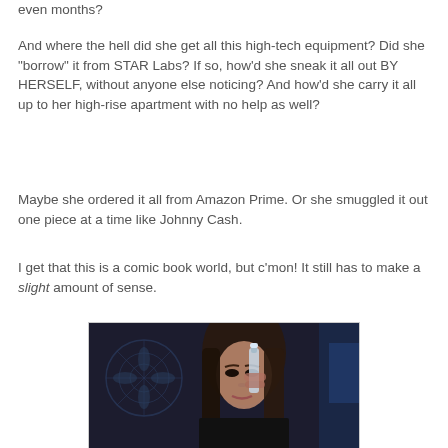even months?
And where the hell did she get all this high-tech equipment? Did she "borrow" it from STAR Labs? If so, how'd she sneak it all out BY HERSELF, without anyone else noticing? And how'd she carry it all up to her high-rise apartment with no help as well?
Maybe she ordered it all from Amazon Prime. Or she smuggled it out one piece at a time like Johnny Cash.
I get that this is a comic book world, but c'mon! It still has to make a slight amount of sense.
[Figure (photo): A young woman with long brown hair holding up a small glass vial or container, looking at it. Dark, moody lighting with decorative background pattern.]